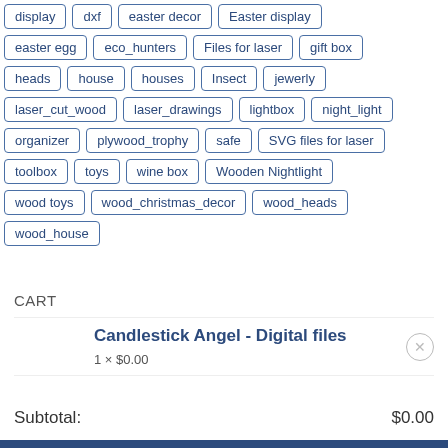display
dxf
easter decor
Easter display
easter egg
eco_hunters
Files for laser
gift box
heads
house
houses
Insect
jewerly
laser_cut_wood
laser_drawings
lightbox
night_light
organizer
plywood_trophy
safe
SVG files for laser
toolbox
toys
wine box
Wooden Nightlight
wood toys
wood_christmas_decor
wood_heads
wood_house
CART
Candlestick Angel - Digital files
1 × $0.00
Subtotal: $0.00